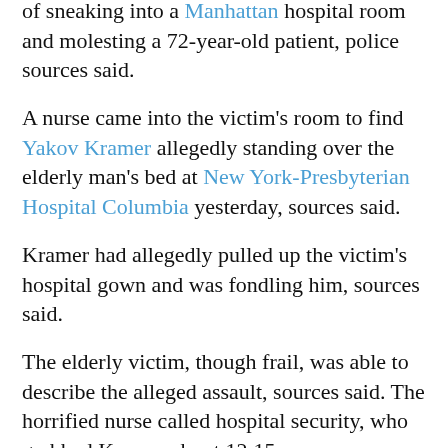of sneaking into a Manhattan hospital room and molesting a 72-year-old patient, police sources said.
A nurse came into the victim's room to find Yakov Kramer allegedly standing over the elderly man's bed at New York-Presbyterian Hospital Columbia yesterday, sources said.
Kramer had allegedly pulled up the victim's hospital gown and was fondling him, sources said.
The elderly victim, though frail, was able to describe the alleged assault, sources said. The horrified nurse called hospital security, who grabbed Kramer about 12:15 p.m., sources said.
"The whole story is wrong and stupid," said a woman who answered the phone at the Williamsburg, Brooklyn, home of Kramer's father, Jeremias Kramer.
"He is a student, a studious person," the woman said. "He was in the hospital with his wife. She had an appointment. Something is very wrong if someone could be arrested at a hospital. This is not right, this is not legal."